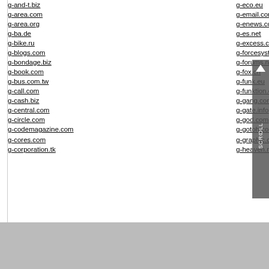g-and-t.biz
g-area.com
g-area.org
g-ba.de
g-bike.ru
g-blogs.com
g-bondage.biz
g-book.com
g-bus.com.tw
g-call.com
g-cash.biz
g-central.com
g-circle.com
g-codemagazine.com
g-cores.com
g-corporation.tk
g-eco.eu
g-email.com
g-enews.com
g-es.net
g-excess.com
g-forcesystem…
g-forums.net
g-fox.cn
g-funk.eu
g-funktion.com
g-gang.com
g-gate.info
g-god.com
g-gotoh.com
g-graphic.com
g-heaven.net